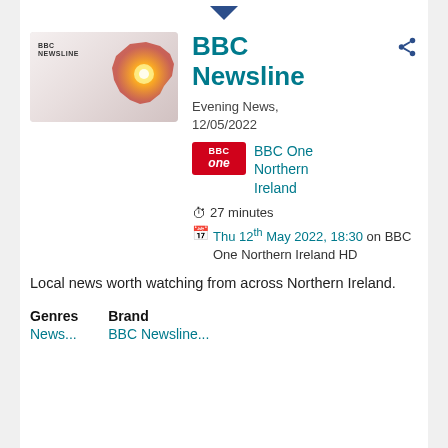[Figure (screenshot): BBC Newsline programme thumbnail showing 'BBC NEWSLINE' logo text and a glowing red/orange map of Northern Ireland shape on a light background]
BBC Newsline
[Figure (logo): BBC One red badge logo with 'BBC' and 'one' text]
Evening News, 12/05/2022
BBC One Northern Ireland
27 minutes
Thu 12th May 2022, 18:30 on BBC One Northern Ireland HD
Local news worth watching from across Northern Ireland.
Genres
Brand
News...
BBC Newsline...